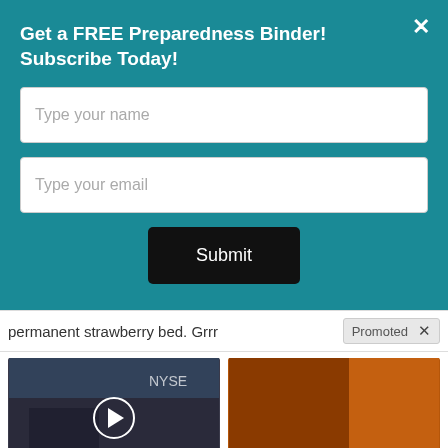Get a FREE Preparedness Binder! Subscribe Today!
Type your name
Type your email
Submit
permanent strawberry bed. Grrr
Promoted
[Figure (photo): News anchor on TV set with NYSE banner, video play button overlay]
Biden Retiring The US Dollar? Could Be Replaced With This...
10,263
[Figure (photo): Fitness person with spoon of red powder/spice]
A Teaspoon On An Empty Stomach Burns Fat Like Crazy!
126,732